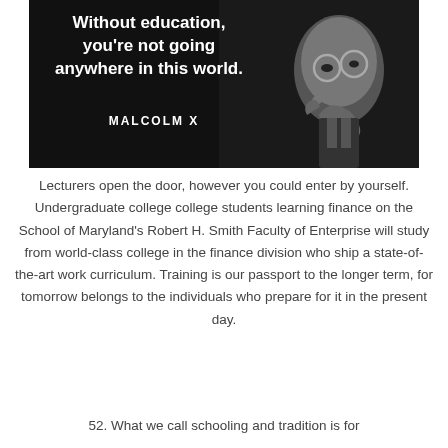[Figure (photo): Black and white photo of Malcolm X with overlaid quote text: 'Without education, you're not going anywhere in this world.' and attribution 'MALCOLM X']
Lecturers open the door, however you could enter by yourself. Undergraduate college college students learning finance on the School of Maryland's Robert H. Smith Faculty of Enterprise will study from world-class college in the finance division who ship a state-of-the-art work curriculum. Training is our passport to the longer term, for tomorrow belongs to the individuals who prepare for it in the present day.
52. What we call schooling and tradition is for